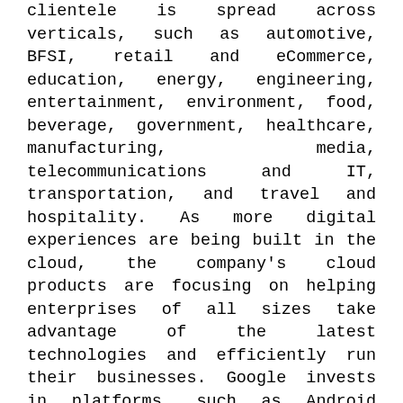clientele is spread across verticals, such as automotive, BFSI, retail and eCommerce, education, energy, engineering, entertainment, environment, food, beverage, government, healthcare, manufacturing, media, telecommunications and IT, transportation, and travel and hospitality. As more digital experiences are being built in the cloud, the company's cloud products are focusing on helping enterprises of all sizes take advantage of the latest technologies and efficiently run their businesses. Google invests in platforms, such as Android mobile OS, Chrome browser, Chrome OS, and Daydream Virtual Reality (VR). It operates through 70 offices in more than 50 countries worldwide. In February 2020, the company completed the acquisition of Looker, a unified platform provider for business intelligence, data applications, and embedded analytics. In the AI market, Google offers numerous products, including Google AI Platform, TensorFlow, Conversational AI, Recommendation AI, and Cloud Tensor Processing Units. These products and solutions help users build AI and ML models in the areas of computer vision, image processing, pattern recognition,